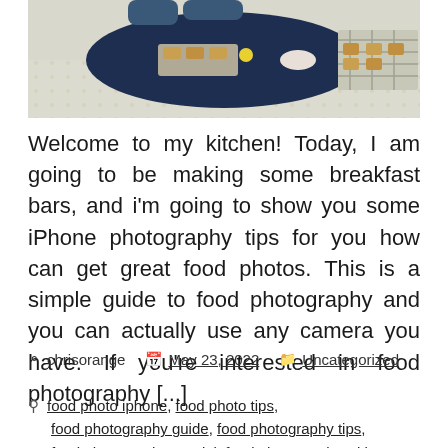[Figure (photo): Overhead view of a kitchen table with a dark blue oval tray holding breakfast bars and a yellow flower, and a cooling rack with more bars to the right, on a patterned tablecloth]
Welcome to my kitchen! Today, I am going to be making some breakfast bars, and i'm going to show you some iPhone photography tips for you how can get great food photos. This is a simple guide to food photography and you can actually use any camera you have. If you're interested in food photography [...]
chrisorange   May 23, 2022   Uncategorized
food photo iphone, food photo tips, food photography guide, food photography tips, food photography tutorial, food photography with iphone, how to light food for photography